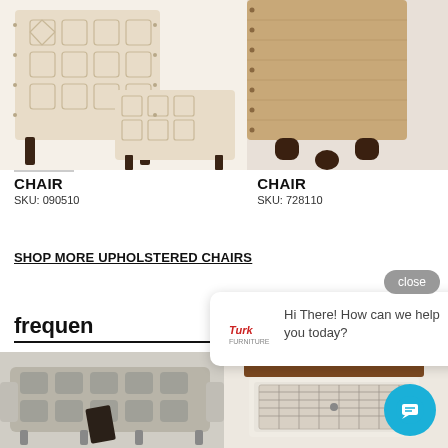[Figure (photo): Chair with geometric patterned upholstery and ottoman, beige/tan tones, dark wood legs]
[Figure (photo): Chair with brown/tan fabric upholstery and dark carved wood feet, partially visible]
CHAIR
SKU: 090510
CHAIR
SKU: 728110
SHOP MORE UPHOLSTERED CHAIRS
frequen
[Figure (screenshot): Chat popup widget with Turk Furniture logo and message: Hi There! How can we help you today? with close button]
[Figure (photo): Light gray tufted loveseat/recliner sofa with tablet holder]
[Figure (photo): White distressed wood end table with brown top and mesh door cabinet]